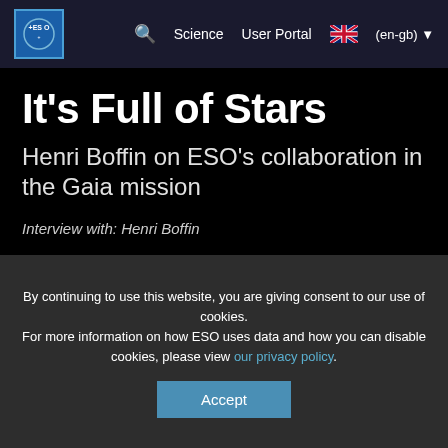ESO logo | Science | User Portal | (en-gb)
It’s Full of Stars
Henri Boffin on ESO’s collaboration in the Gaia mission
Interview with: Henri Boffin
25 May 2018    On the Ground
[Figure (screenshot): Blue gradient banner strip]
By continuing to use this website, you are giving consent to our use of cookies.
For more information on how ESO uses data and how you can disable cookies, please view our privacy policy.